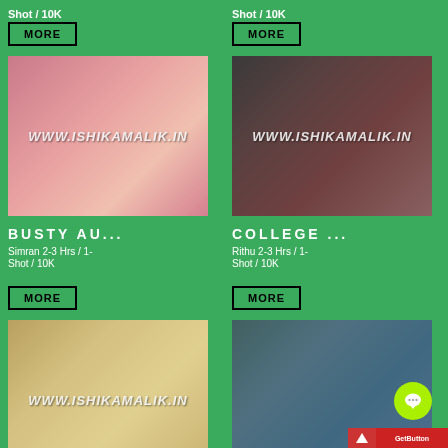Shot / 10K
Shot / 10K
MORE
MORE
[Figure (photo): Woman in pink outfit with watermark WWW.ISHIKAMALIK.IN]
[Figure (photo): Woman in black outfit on sofa with watermark WWW.ISHIKAMALIK.IN]
BUSTY AU...
COLLEGE ...
Simran 2-3 Hrs / 1-
Rithu 2-3 Hrs / 1-
Shot / 10K
Shot / 10K
MORE
MORE
[Figure (photo): Blonde woman with watermark WWW.ISHIKAMALIK.IN]
[Figure (photo): Woman in sunglasses outdoors]